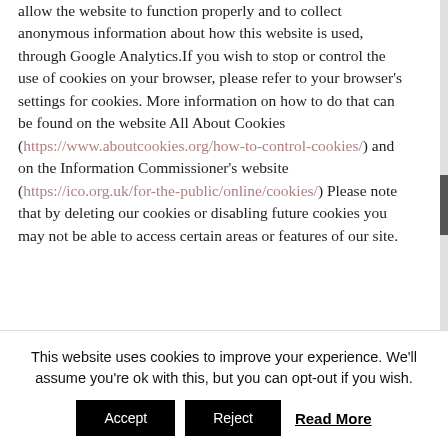allow the website to function properly and to collect anonymous information about how this website is used, through Google Analytics.If you wish to stop or control the use of cookies on your browser, please refer to your browser's settings for cookies. More information on how to do that can be found on the website All About Cookies (https://www.aboutcookies.org/how-to-control-cookies/) and on the Information Commissioner's website (https://ico.org.uk/for-the-public/online/cookies/) Please note that by deleting our cookies or disabling future cookies you may not be able to access certain areas or features of our site.
This website uses cookies to improve your experience. We'll assume you're ok with this, but you can opt-out if you wish.